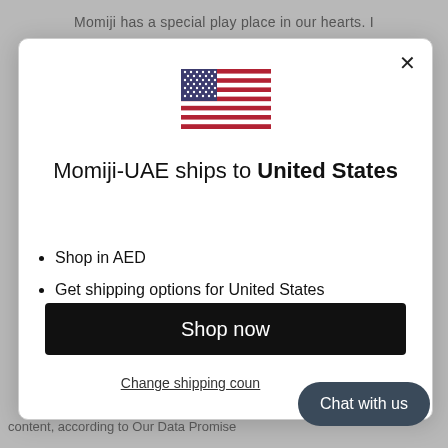Momiji has a special play place in our hearts. I
[Figure (illustration): US flag emoji/icon centered in modal]
Momiji-UAE ships to United States
Shop in AED
Get shipping options for United States
Shop now
Change shipping coun…
Chat with us
content, according to Our Data Promise